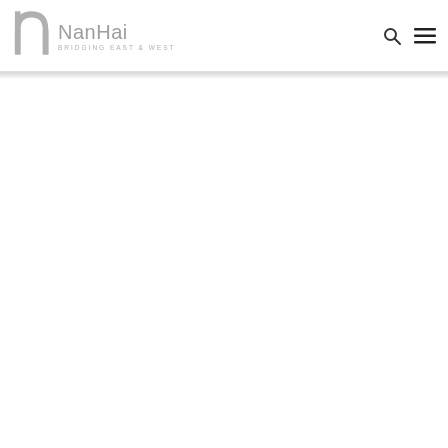[Figure (logo): NanHai logo with stylized 'nh' monogram in grey and text 'NanHai' with tagline 'BRIDGING EAST & WEST', plus search and hamburger menu icons on the right]